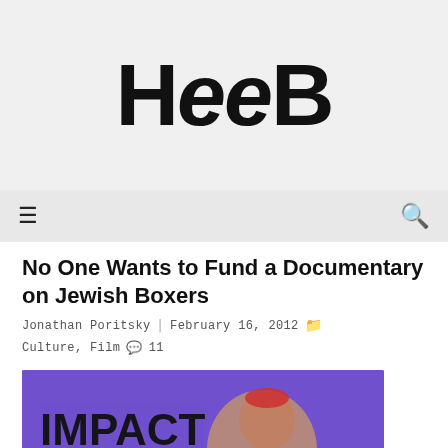HeeB
No One Wants to Fund a Documentary on Jewish Boxers
Jonathan Poritsky  February 16, 2012  Culture, Film  11
[Figure (screenshot): Video thumbnail for IMPACT: Jewish Boxers in America documentary — shows a boxer in motion on a purple background with the text IMPACT and Jewish Boxers in America, with a green play button overlay]